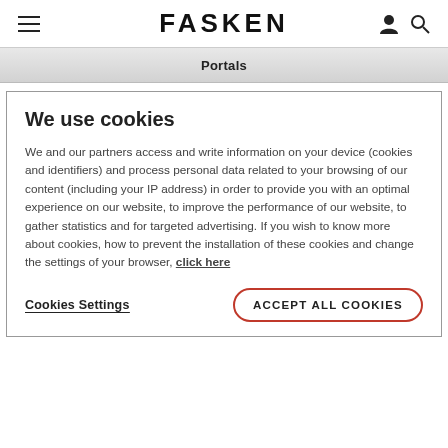FASKEN
Portals
We use cookies
We and our partners access and write information on your device (cookies and identifiers) and process personal data related to your browsing of our content (including your IP address) in order to provide you with an optimal experience on our website, to improve the performance of our website, to gather statistics and for targeted advertising. If you wish to know more about cookies, how to prevent the installation of these cookies and change the settings of your browser, click here
Cookies Settings
ACCEPT ALL COOKIES